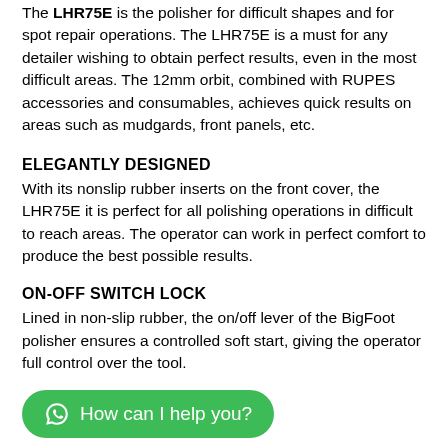The LHR75E is the polisher for difficult shapes and for spot repair operations. The LHR75E is a must for any detailer wishing to obtain perfect results, even in the most difficult areas. The 12mm orbit, combined with RUPES accessories and consumables, achieves quick results on areas such as mudgards, front panels, etc.
ELEGANTLY DESIGNED
With its nonslip rubber inserts on the front cover, the LHR75E it is perfect for all polishing operations in difficult to reach areas. The operator can work in perfect comfort to produce the best possible results.
ON-OFF SWITCH LOCK
Lined in non-slip rubber, the on/off lever of the BigFoot polisher ensures a controlled soft start, giving the operator full control over the tool.
[Figure (other): WhatsApp chat button: green pill-shaped button with WhatsApp icon and text 'How can I help you?']
MAXIMUM FLEXIBILITY
Thanks to the backing pad with small diameter, the LHR75E is